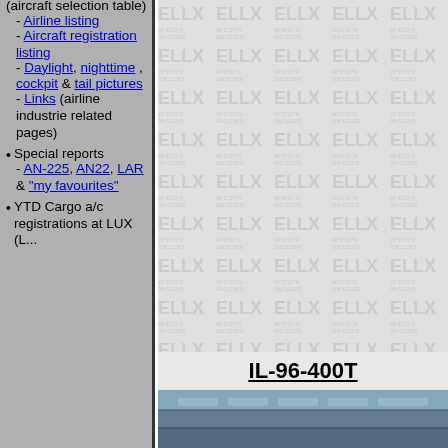(aircraft selection table)
- Airline listing
- Aircraft registration listing
- Daylight, nighttime , cockpit & tail pictures
- Links (airline industrie related pages)
Special reports
- AN-225, AN22, LAR & "my favourites"
YTD Cargo a/c registrations at LUX (L...
[Figure (other): Watermark background with repeating ELLX text pattern and coordinate labels, with IL-96-400T label and cockpit photo at bottom]
IL-96-400T